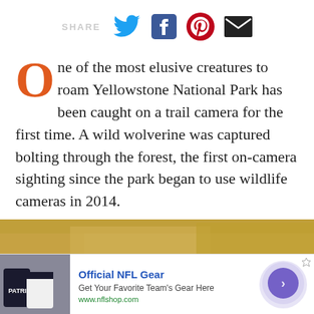[Figure (other): Social share bar with SHARE label and icons for Twitter, Facebook, Pinterest, and Email]
One of the most elusive creatures to roam Yellowstone National Park has been caught on a trail camera for the first time. A wild wolverine was captured bolting through the forest, the first on-camera sighting since the park began to use wildlife cameras in 2014.
[Figure (photo): Blurred photo of a forest floor with dark ground and blurred golden/brown background foliage]
[Figure (other): Advertisement banner: Official NFL Gear - Get Your Favorite Team's Gear Here - www.nflshop.com, with NFL player image on left and arrow button on right]